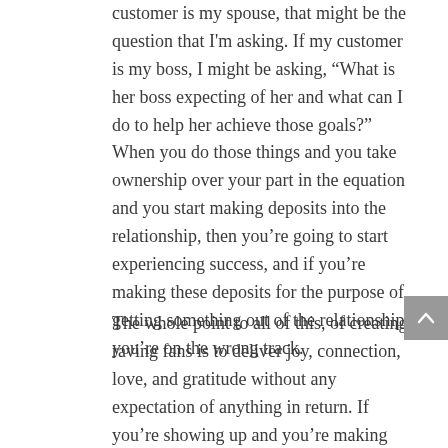customer is my spouse, that might be the question that I'm asking. If my customer is my boss, I might be asking, “What is her boss expecting of her and what can I do to help her achieve those goals?” When you do those things and you take ownership over your part in the equation and you start making deposits into the relationship, then you’re going to start experiencing success, and if you’re making these deposits for the purpose of getting something out of the relationship, you’re on the wrong track.
The whole point to all of this, of creating raving fans is to deliver joy, connection, love, and gratitude without any expectation of anything in return. If you’re showing up and you’re making deposits, and then you’re pulling out your little scorecard with your little golf pencil and you’re trying to keep track of what you’ve given to other people and now waiting for something back from them, you are not doing